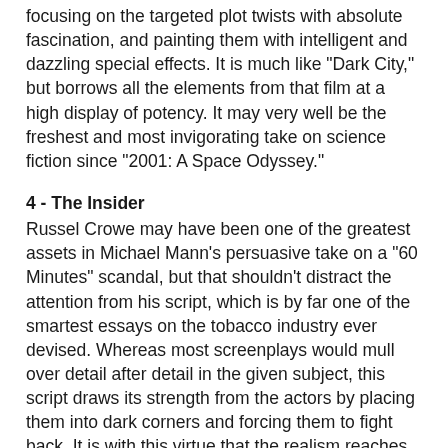focusing on the targeted plot twists with absolute fascination, and painting them with intelligent and dazzling special effects. It is much like "Dark City," but borrows all the elements from that film at a high display of potency. It may very well be the freshest and most invigorating take on science fiction since "2001: A Space Odyssey."
4 - The Insider
Russel Crowe may have been one of the greatest assets in Michael Mann's persuasive take on a "60 Minutes" scandal, but that shouldn't distract the attention from his script, which is by far one of the smartest essays on the tobacco industry ever devised. Whereas most screenplays would mull over detail after detail in the given subject, this script draws its strength from the actors by placing them into dark corners and forcing them to fight back. It is with this virtue that the realism reaches out to the audience; we know that cigarettes kill people, and seeing "The Insider" and its lifelike characterizations reminds us that the smokers tend to suffer long before fate settles in.
The actors are superbly influenced by the material—Russel